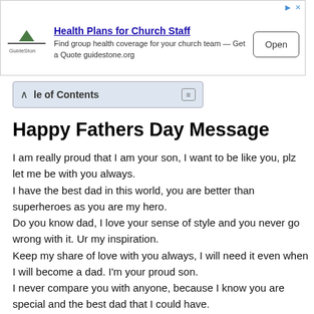[Figure (other): Advertisement banner for GuideStone Health Plans for Church Staff with Open button]
le of Contents
Happy Fathers Day Message
I am really proud that I am your son, I want to be like you, plz let me be with you always.
I have the best dad in this world, you are better than superheroes as you are my hero.
Do you know dad, I love your sense of style and you never go wrong with it. Ur my inspiration.
Keep my share of love with you always, I will need it even when I will become a dad. I’m your proud son.
I never compare you with anyone, because I know you are special and the best dad that I could have.